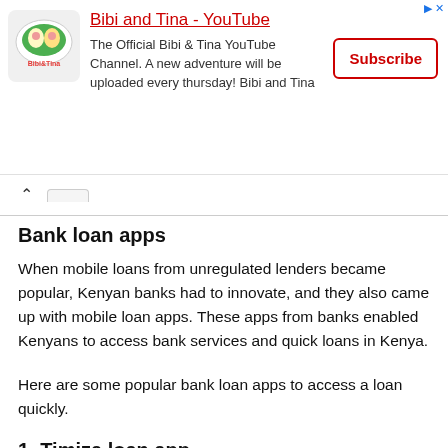[Figure (logo): Bibi and Tina YouTube channel advertisement banner with logo, channel description, and Subscribe button]
Bank loan apps
When mobile loans from unregulated lenders became popular, Kenyan banks had to innovate, and they also came up with mobile loan apps. These apps from banks enabled Kenyans to access bank services and quick loans in Kenya.
Here are some popular bank loan apps to access a loan quickly.
1. Timiza loan app
Timiza loan by Absa Bank gives instant approvals at low-interest rates, and it is easily accessible through the mobile